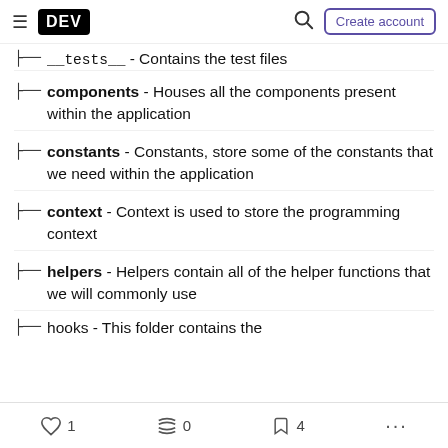≡ DEV  🔍  Create account
├── __tests__ - Contains the test files
├── components - Houses all the components present within the application
├── constants - Constants, store some of the constants that we need within the application
├── context - Context is used to store the programming context
├── helpers - Helpers contain all of the helper functions that we will commonly use
♡ 1   〰 0   🔖 4   ...